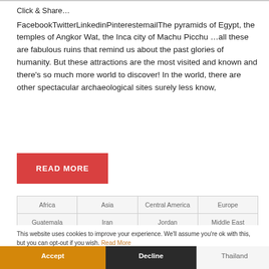Click & Share…
FacebookTwitterLinkedinPinterestemailThe pyramids of Egypt, the temples of Angkor Wat, the Inca city of Machu Picchu …all these are fabulous ruins that remind us about the past glories of humanity. But these attractions are the most visited and known and there's so much more world to discover! In the world, there are other spectacular archaeological sites surely less know,
READ MORE
| Africa | Asia | Central America | Europe |
| --- | --- | --- | --- |
| Guatemala | Iran | Jordan | Middle East |
This website uses cookies to improve your experience. We'll assume you're ok with this, but you can opt-out if you wish. Read More
Accept  Decline  Thailand  Tur  Cookie Settings
| United Kingdom | Zimbabwe |
| --- | --- |